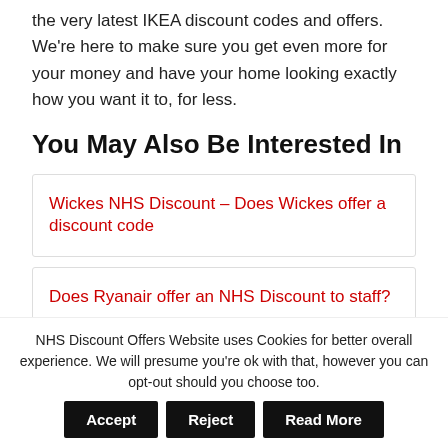the very latest IKEA discount codes and offers. We're here to make sure you get even more for your money and have your home looking exactly how you want it to, for less.
You May Also Be Interested In
Wickes NHS Discount – Does Wickes offer a discount code
Does Ryanair offer an NHS Discount to staff?
Does Chiquito offer a discount to NHS Staff?
Do Pert...offer a discount to NHS Staff?
NHS Discount Offers Website uses Cookies for better overall experience. We will presume you're ok with that, however you can opt-out should you choose too.  Accept  Reject  Read More